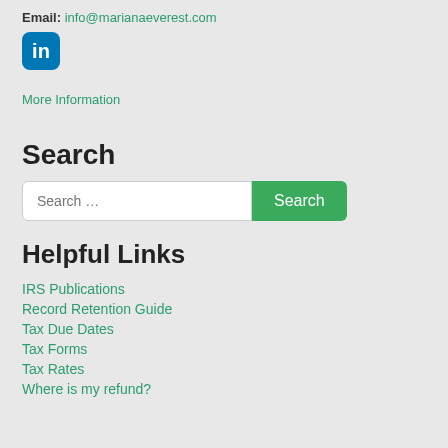Email: info@marianaeverest.com
[Figure (logo): LinkedIn icon — blue rounded square with white 'in' text]
More Information
Search
Search … [input box] Search [button]
Helpful Links
IRS Publications
Record Retention Guide
Tax Due Dates
Tax Forms
Tax Rates
Where is my refund?